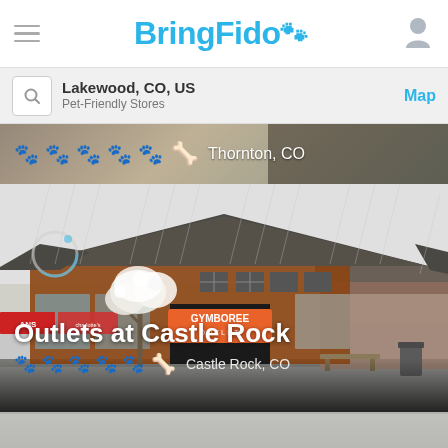BringFido
Lakewood, CO, US
Pet-Friendly Stores
Map
[Figure (photo): Partially visible listing card for a location in Thornton, CO with paw rating icons on a photo background]
[Figure (photo): Photo of Outlets at Castle Rock showing a brick building with Gymboree Outlet storefront in the rain, with a flowering tree and benches]
Outlets at Castle Rock
Castle Rock, CO